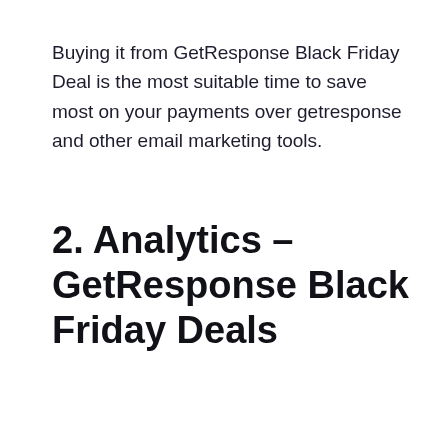Buying it from GetResponse Black Friday Deal is the most suitable time to save most on your payments over getresponse and other email marketing tools.
2. Analytics – GetResponse Black Friday Deals